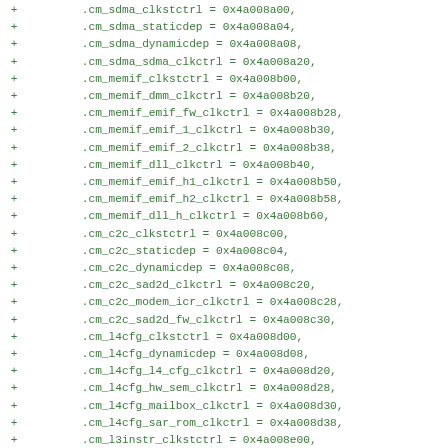Code diff showing register address definitions in C struct initializer format, with lines prefixed by '+' indicating additions. Fields include cm_sdma_clkstctrl, cm_sdma_staticdep, cm_sdma_dynamicdep, cm_sdma_sdma_clkctrl, cm_memif_clkstctrl, cm_memif_dmm_clkctrl, cm_memif_emif_fw_clkctrl, cm_memif_emif_1_clkctrl, cm_memif_emif_2_clkctrl, cm_memif_dll_clkctrl, cm_memif_emif_h1_clkctrl, cm_memif_emif_h2_clkctrl, cm_memif_dll_h_clkctrl, cm_c2c_clkstctrl, cm_c2c_staticdep, cm_c2c_dynamicdep, cm_c2c_sad2d_clkctrl, cm_c2c_modem_icr_clkctrl, cm_c2c_sad2d_fw_clkctrl, cm_l4cfg_clkstctrl, cm_l4cfg_dynamicdep, cm_l4cfg_l4_cfg_clkctrl, cm_l4cfg_hw_sem_clkctrl, cm_l4cfg_mailbox_clkctrl, cm_l4cfg_sar_rom_clkctrl, cm_l3instr_clkstctrl, cm_l3instr_l3_3_clkctrl, cm_l3instr_l3_instr_clkctrl, cm_l3instr_intrconn_wp1_clkct, cm_ivahd_clkstctrl